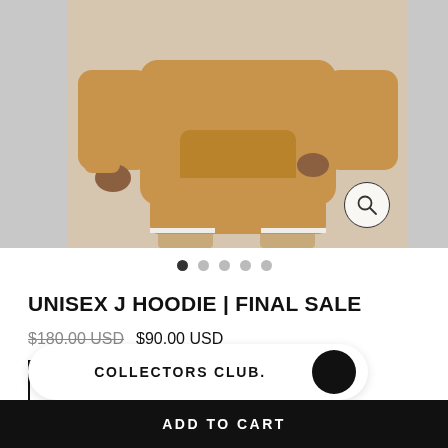[Figure (photo): Product photo of a model wearing a tan/camel unisex hoodie with matching shorts, cropped to show torso and legs. A zoom icon appears in the lower right of the image. Navigation dots below indicate 5 carousel images with the first selected.]
UNISEX J HOODIE | FINAL SALE
$180.00 USD  $90.00 USD
XS  S  M  L  XL
Color swatches: tan/brown (selected), cream
COLLECTORS CLUB.
ADD TO CART